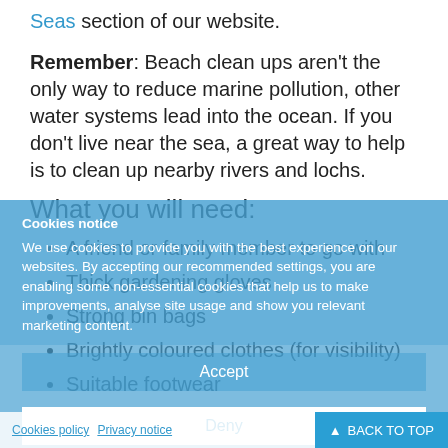Seas section of our website.
Remember: Beach clean ups aren't the only way to reduce marine pollution, other water systems lead into the ocean. If you don't live near the sea, a great way to help is to clean up nearby rivers and lochs.
What you will need:
A friend or family member to go with
Thick gardening gloves
Strong bin bags
Brightly coloured clothes (for visibility)
Suitable footwear
How to go on a litter pick on a beach
Cookies notice
We use cookies to provide you with the best experience on our websites. By accepting our recommended settings, you are enabling some non-essential cookies that help us to make improvements, analyse site usage and show you relevant marketing content.
Accept
Deny
Preferences
Cookies policy  Privacy notice  ▲ BACK TO TOP